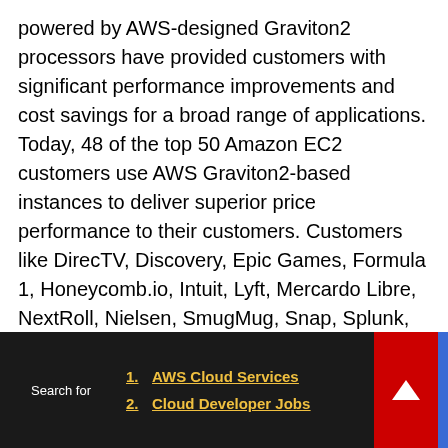powered by AWS-designed Graviton2 processors have provided customers with significant performance improvements and cost savings for a broad range of applications. Today, 48 of the top 50 Amazon EC2 customers use AWS Graviton2-based instances to deliver superior price performance to their customers. Customers like DirecTV, Discovery, Epic Games, Formula 1, Honeycomb.io, Intuit, Lyft, Mercardo Libre, NextRoll, Nielsen, SmugMug, Snap, Splunk, and Sprinklr have seen significant performance gains, with reduced costs, running AWS Graviton2-based instances in production. The AWS Graviton-based instance portfolio offers 13 different instances that include general purpose, compute
Search for 1. AWS Cloud Services 2. Cloud Developer Jobs